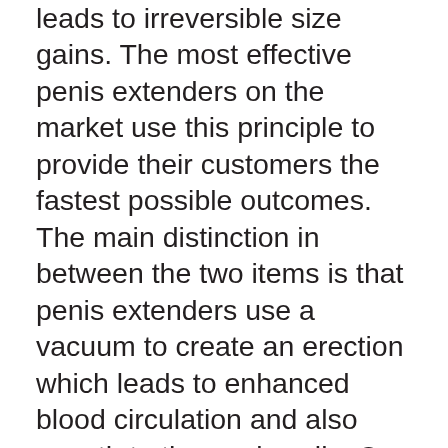leads to irreversible size gains. The most effective penis extenders on the market use this principle to provide their customers the fastest possible outcomes. The main distinction in between the two items is that penis extenders use a vacuum to create an erection which leads to enhanced blood circulation and also growth to the penis cells. On the other hand, penis pumps make use of hand-operated excitement to achieve this.
If you would like to know how penis extenders function, then there is no better source than this site. The fundamental principle continues to be the same, the only distinction being the method utilized to expand the cells contained in your penis. While penis pumps will certainly make use of